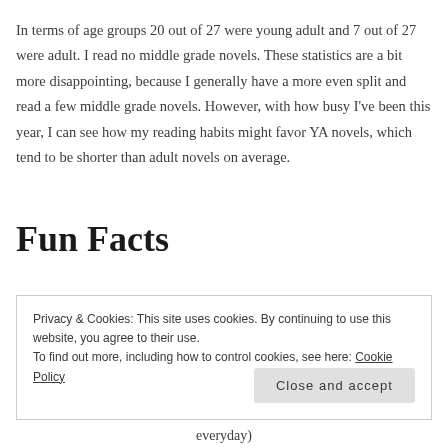In terms of age groups 20 out of 27 were young adult and 7 out of 27 were adult. I read no middle grade novels. These statistics are a bit more disappointing, because I generally have a more even split and read a few middle grade novels. However, with how busy I've been this year, I can see how my reading habits might favor YA novels, which tend to be shorter than adult novels on average.
Fun Facts
Privacy & Cookies: This site uses cookies. By continuing to use this website, you agree to their use.
To find out more, including how to control cookies, see here: Cookie Policy
everyday)